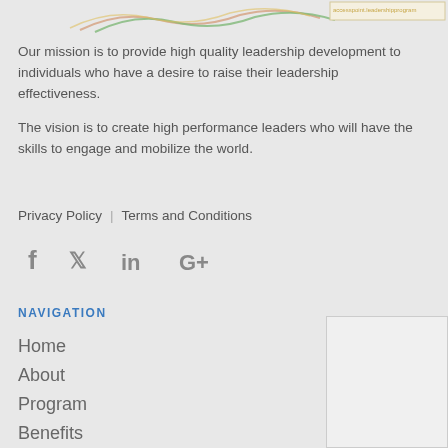[Figure (illustration): Decorative logo/wave graphic in top left area with colored flowing lines]
Our mission is to provide high quality leadership development to individuals who have a desire to raise their leadership effectiveness.
The vision is to create high performance leaders who will have the skills to engage and mobilize the world.
Privacy Policy  |  Terms and Conditions
[Figure (infographic): Social media icons: Facebook (f), Twitter (bird), LinkedIn (in), Google+ (G+)]
NAVIGATION
Home
About
Program
Benefits